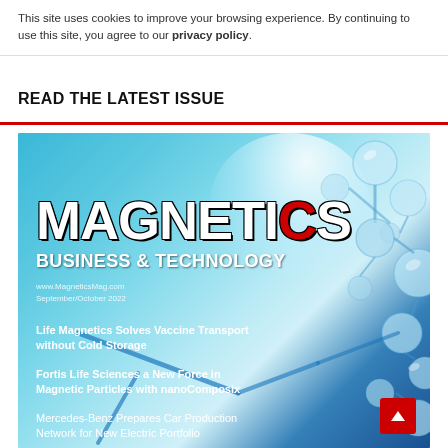This site uses cookies to improve your browsing experience. By continuing to use this site, you agree to our privacy policy.
READ THE LATEST ISSUE
[Figure (illustration): Cover of Magnetics Business & Technology magazine, September/October 2022 issue. Teal/blue background with molecular structures. Title reads MAGNETICS BUSINESS & TECHNOLOGY with a red C. Cover stories: Life Magnetics Solves Vaccine Transport without Cold Storage; Fortis Life Sciences a New Force in Magnetic Particles with nanoComposix; Mercedes-Benz Prepares Car Production Network for New Electric Portfolio.]